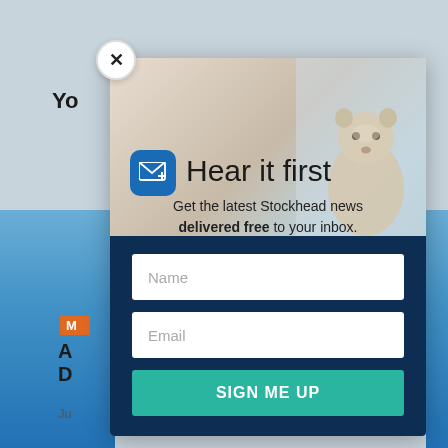Yo
Hear it first
Get the latest Stockhead news delivered free to your inbox.
Name
Email
SIGN ME UP